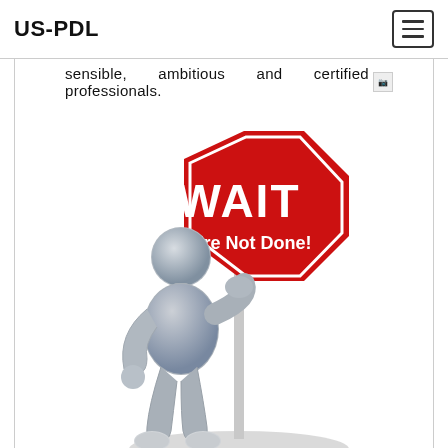US-PDL
sensible, ambitious and certified professionals.
[Figure (illustration): A 3D grey humanoid figure standing with one hand on hip and the other arm extended to hold a red octagonal stop sign-style sign that reads 'WAIT You're Not Done!' in white bold text. The figure casts a shadow on the white background below.]